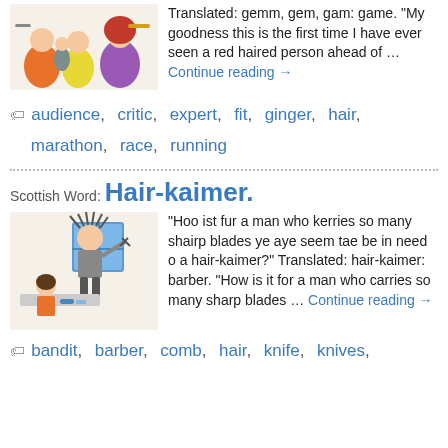[Figure (illustration): Cartoon illustration of a group of people at what appears to be a race or public event, with colorful characters including a person in orange shirt and a woman with red hair in a purple dress.]
Translated: gemm, gem, gam: game. "My goodness this is the first time I have ever seen a red haired person ahead of … Continue reading →
audience, critic, expert, fit, ginger, hair, marathon, race, running
Scottish Word: Hair-kaimer.
[Figure (illustration): Cartoon illustration of a disheveled man with wild hair holding scissors near a barber shop window, and a woman sitting at a table below.]
"Hoo ist fur a man who kerries so many shairp blades ye aye seem tae be in need o a hair-kaimer?" Translated: hair-kaimer: barber. "How is it for a man who carries so many sharp blades … Continue reading →
bandit, barber, comb, hair, knife, knives,